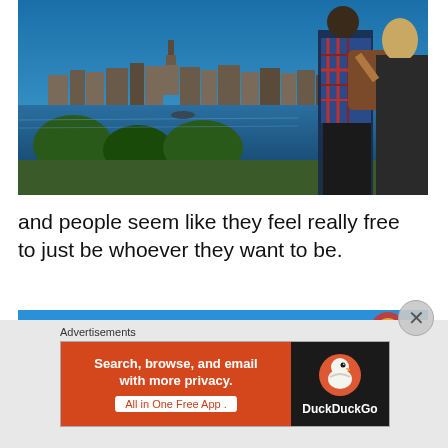[Figure (photo): Two people (a man in a plaid shirt with a backpack and a woman) standing with their backs to the camera, looking at the New York City skyline across a body of water, with trees in the foreground and a blue sky above.]
and people seem like they feel really free to just be whoever they want to be.
[Figure (photo): Partial photo showing a blue sky with what appears to be a colorful carnival or amusement ride structure on the right side.]
Advertisements
[Figure (screenshot): DuckDuckGo advertisement banner. Left side orange with text 'Search, browse, and email with more privacy. All in One Free App'. Right side dark with DuckDuckGo duck logo and 'DuckDuckGo' text.]